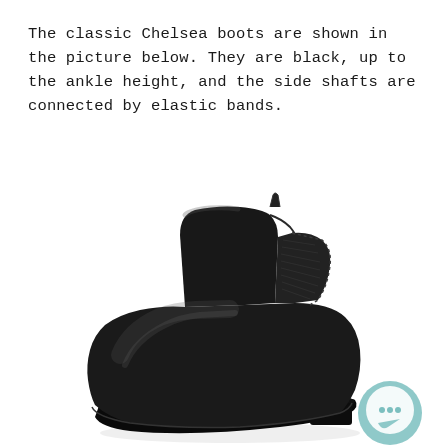The classic Chelsea boots are shown in the picture below. They are black, up to the ankle height, and the side shafts are connected by elastic bands.
[Figure (photo): A black leather Chelsea boot photographed on a white background. The boot is ankle height with a smooth leather upper, elastic side panels, a pull tab at the back, and a low block heel. A teal/cyan circular chat icon watermark appears in the lower right corner.]